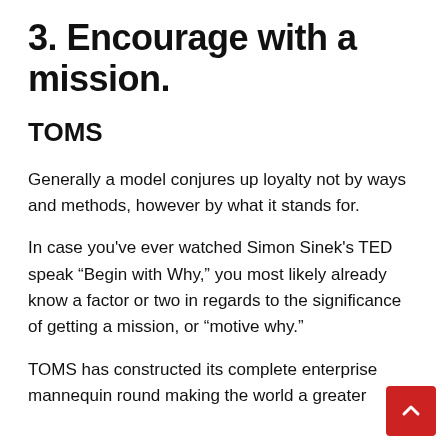3. Encourage with a mission.
TOMS
Generally a model conjures up loyalty not by ways and methods, however by what it stands for.
In case you've ever watched Simon Sinek's TED speak “Begin with Why,” you most likely already know a factor or two in regards to the significance of getting a mission, or “motive why.”
TOMS has constructed its complete enterprise mannequin round making the world a greater